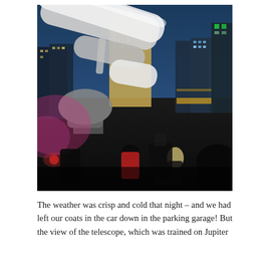[Figure (photo): Nighttime outdoor photo showing a large telescope in the foreground pointed upward, with a crowd of people gathered around it. In the background, illuminated city skyscrapers including a distinctive pyramid-topped tower are visible against a deep blue dusk sky. Pink/magenta lighting is visible on the left side near some equipment.]
The weather was crisp and cold that night – and we had left our coats in the car down in the parking garage! But the view of the telescope, which was trained on Jupiter